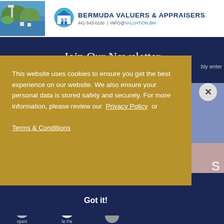[Figure (photo): Bermuda landscape photo with coastline and tower]
[Figure (logo): Bermuda Valuers & Appraisers logo with house icon and BVA text]
Join Our Newsletter
This website uses cookies to ensure you get the best experience on our website. We also ensure your personal data is stored safely and securely. For more information, please review our  Privacy Policy  or Terms & Conditions
Got it!
[Figure (screenshot): Bottom navigation icons showing property-related links]